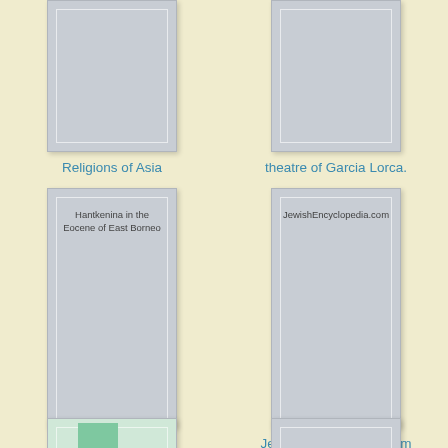[Figure (illustration): Book cover placeholder for 'Religions of Asia', light gray rectangle with inner border, partially cropped at top]
Religions of Asia
[Figure (illustration): Book cover placeholder for 'theatre of Garcia Lorca.', light gray rectangle with inner border, partially cropped at top]
theatre of Garcia Lorca.
[Figure (illustration): Book cover placeholder for 'Hantkenina in the Eocene of East Borneo', light gray rectangle with inner border, title text visible inside cover]
Hantkenina in the Eocene of East Borneo
[Figure (illustration): Book cover placeholder for 'JewishEncyclopedia.com', light gray rectangle with inner border, title text visible inside cover]
JewishEncyclopedia.com
[Figure (illustration): Book cover placeholder partially visible at bottom left, cropped]
[Figure (illustration): Book cover placeholder partially visible at bottom right, cropped]